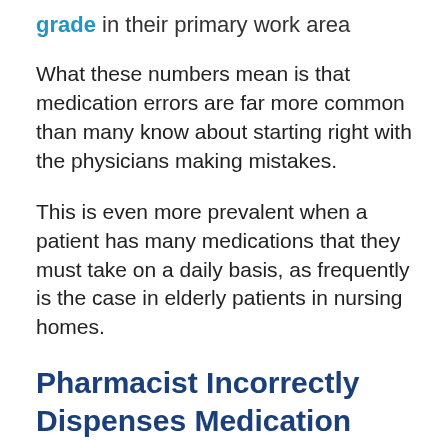grade in their primary work area
What these numbers mean is that medication errors are far more common than many know about starting right with the physicians making mistakes.
This is even more prevalent when a patient has many medications that they must take on a daily basis, as frequently is the case in elderly patients in nursing homes.
Pharmacist Incorrectly Dispenses Medication
Pharmacists that work with patients who have a